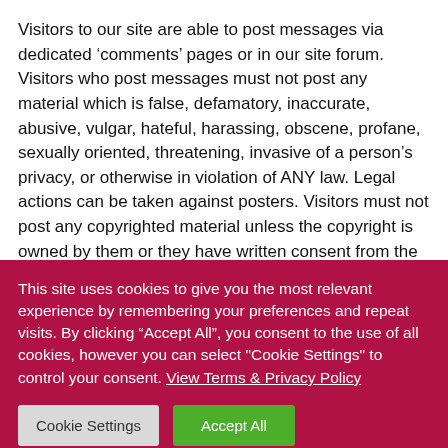Visitors to our site are able to post messages via dedicated ‘comments’ pages or in our site forum. Visitors who post messages must not post any material which is false, defamatory, inaccurate, abusive, vulgar, hateful, harassing, obscene, profane, sexually oriented, threatening, invasive of a person’s privacy, or otherwise in violation of ANY law. Legal actions can be taken against posters. Visitors must not post any copyrighted material unless the copyright is owned by them or they have written consent from the owner of the copyrighted material.
Posters remain solely responsible for the content of their messages. The site owners reserve the right to...
This site uses cookies to give you the most relevant experience by remembering your preferences and repeat visits. By clicking “Accept All”, you consent to the use of all cookies, however you can select "Cookie Settings" to control your consent. View Terms & Privacy Policy